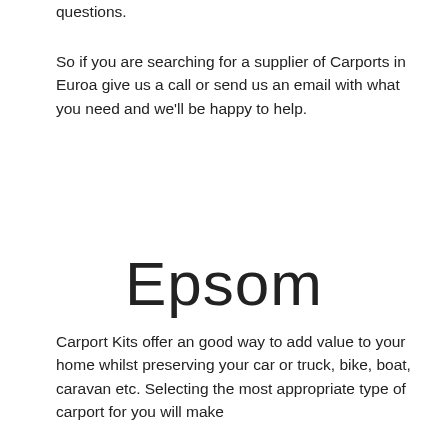questions.
So if you are searching for a supplier of Carports in Euroa give us a call or send us an email with what you need and we'll be happy to help.
Epsom
Carport Kits offer an good way to add value to your home whilst preserving your car or truck, bike, boat, caravan etc. Selecting the most appropriate type of carport for you will make